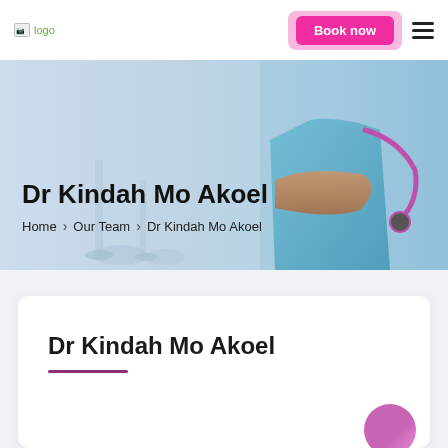[Figure (screenshot): Website header with logo on left, pink 'Book now' button in center-right, and hamburger menu icon on far right]
[Figure (photo): Hero banner with medical background image (doctor in blue scrubs with stethoscope, crossed arms) overlaid with title and breadcrumb navigation]
Dr Kindah Mo Akoel
Home > Our Team > Dr Kindah Mo Akoel
Dr Kindah Mo Akoel